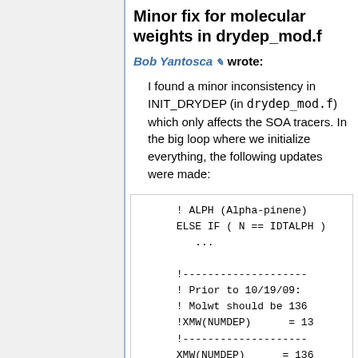Minor fix for molecular weights in drydep_mod.f
Bob Yantosca ✎ wrote:
I found a minor inconsistency in INIT_DRYDEP (in drydep_mod.f) which only affects the SOA tracers. In the big loop where we initialize everything, the following updates were made:
! ALPH (Alpha-pinene)
      ELSE IF ( N == IDTALPH )
         ...

      !--------------------
      ! Prior to 10/19/09:
      ! Molwt should be 136
      !XMW(NUMDEP)      = 13
      !--------------------
      XMW(NUMDEP)      = 136